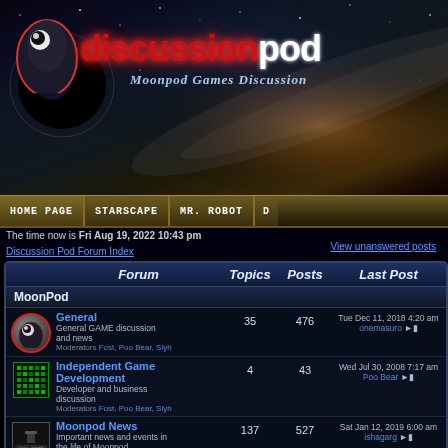[Figure (screenshot): Discussion Pod forum website header with space background, logo 'discussionpod' in red and white, tagline 'Moonpod Games Discussion']
Home Page | Starscape | Mr. Robot | D...
The time now is Fri Aug 19, 2022 10:43 pm
Discussion Pod Forum Index
View unanswered posts
| Forum | Topics | Posts | Last Post |
| --- | --- | --- | --- |
| MoonPod (section header) |  |  |  |
| General
General GAME discussion and news
Moderators Fost, Poo Bear, Slyh | 35 | 476 | Tue Dec 11, 2018 4:20 am
onemasuro |
| Independent Game Development
Developer and business discussion
Moderators Fost, Poo Bear, Slyh | 4 | 43 | Wed Jul 30, 2008 7:17 am
Poo Bear |
| Moonpod News
Important news and events in the life of Moonpod
Moderators Fost, Poo Bear, Moonpod, Slyh | 137 | 527 | Sat Jan 12, 2019 6:00 am
ishagarg |
| Game Talk
Games reviews and commentary
Moderators Fost, Slyh | 28 | 653 | Tue Jan 22, 2019 7:05 am
modobre |